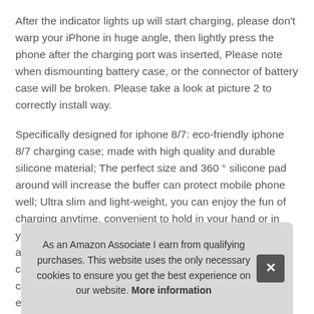After the indicator lights up will start charging, please don't warp your iPhone in huge angle, then lightly press the phone after the charging port was inserted, Please note when dismounting battery case, or the connector of battery case will be broken. Please take a look at picture 2 to correctly install way.
Specifically designed for iphone 8/7: eco-friendly iphone 8/7 charging case; made with high quality and durable silicone material; The perfect size and 360 ° silicone pad around will increase the buffer can protect mobile phone well; Ultra slim and light-weight, you can enjoy the fun of charging anytime, convenient to hold in your hand or in your pocket, anyw... cas... cha... exte...
As an Amazon Associate I earn from qualifying purchases. This website uses the only necessary cookies to ensure you get the best experience on our website. More information